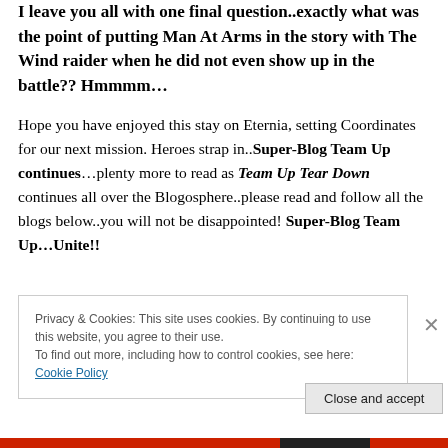I leave you all with one final question..exactly what was the point of putting Man At Arms in the story with The Wind raider when he did not even show up in the battle?? Hmmmm...
Hope you have enjoyed this stay on Eternia, setting Coordinates for our next mission. Heroes strap in..Super-Blog Team Up continues…plenty more to read as Team Up Tear Down continues all over the Blogosphere..please read and follow all the blogs below..you will not be disappointed! Super-Blog Team Up...Unite!!
Privacy & Cookies: This site uses cookies. By continuing to use this website, you agree to their use. To find out more, including how to control cookies, see here: Cookie Policy
Close and accept